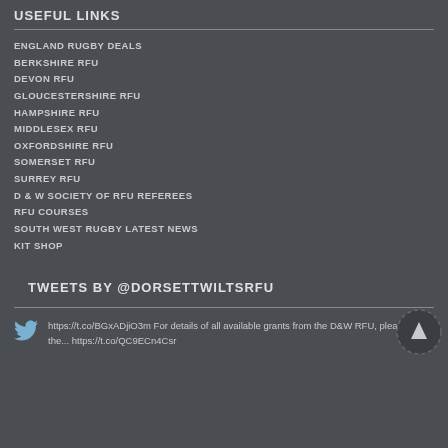USEFUL LINKS
ENGLAND RUGBY DEALS
BERKSHIRE RFU
DEVON RFU
GLOUCESTERSHIRE RFU
HAMPSHIRE RFU
MIDDLESEX RFU
OXFORDSHIRE RFU
SOMERSET RFU
SURREY RFU
D & W SOCIETY OF RFU REFEREES
RFU COURSES
SOUTH WEST RUGBY LATEST NEWS
KIT SHOP
TWEETS BY @DORSETTWILTSRFU
https://t.co/BGxADjiO3m For details of all available grants from the D&W RFU, please visit the... https://t.co/QC9ECn4Csr